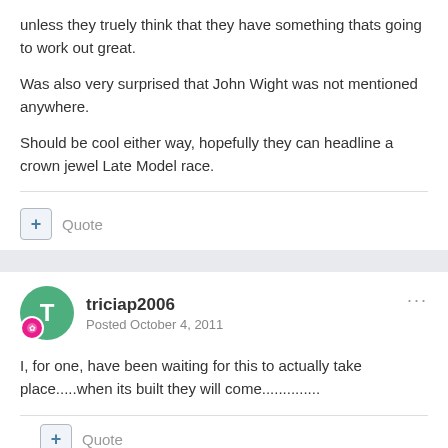unless they truely think that they have something thats going to work out great.
Was also very surprised that John Wight was not mentioned anywhere.
Should be cool either way, hopefully they can headline a crown jewel Late Model race.
Quote
triciap2006
Posted October 4, 2011
I, for one, have been waiting for this to actually take place.....when its built they will come..............
Quote